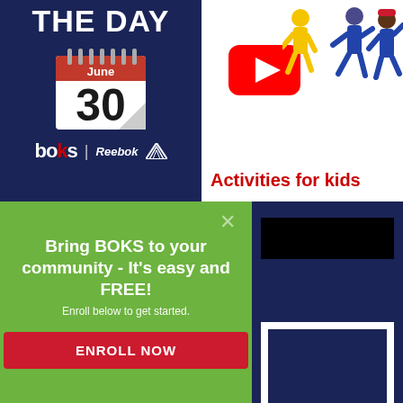[Figure (infographic): BOKS of the Day promotional panel with dark navy background, showing 'THE DAY' text, a calendar icon showing June 30, and BOKS/Reebok logos at the bottom]
[Figure (illustration): White panel with YouTube play button icon and dancing/active figures, with text 'Activities for kids']
[Figure (infographic): Green modal overlay with close X button, headline 'Bring BOKS to your community - It's easy and FREE!', subtext 'Enroll below to get started.', and a red ENROLL NOW button]
[Figure (infographic): Navy blue panel on the right with a black bar, white outlined shape, part of a larger decorative layout]